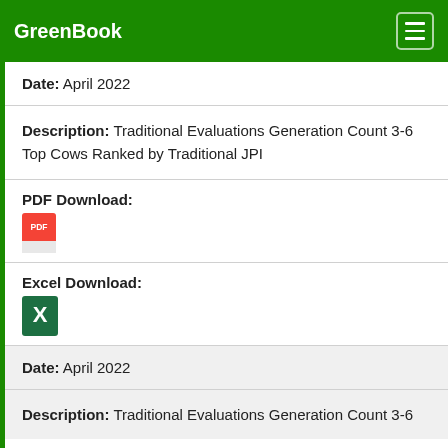GreenBook
Date: April 2022
Description: Traditional Evaluations Generation Count 3-6
Top Cows Ranked by Traditional JPI
PDF Download:
[Figure (illustration): PDF file icon (red and white Adobe PDF icon)]
Excel Download:
[Figure (illustration): Excel file icon (green Microsoft Excel icon)]
Date: April 2022
Description: Traditional Evaluations Generation Count 3-6